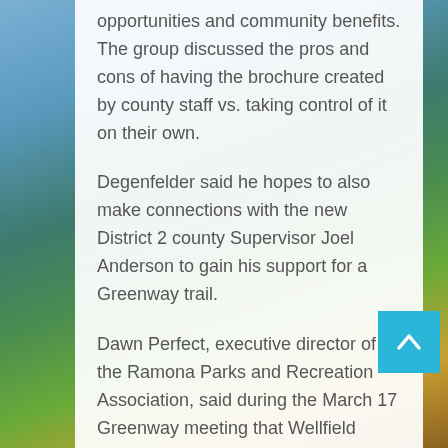opportunities and community benefits. The group discussed the pros and cons of having the brochure created by county staff vs. taking control of it on their own.
Degenfelder said he hopes to also make connections with the new District 2 county Supervisor Joel Anderson to gain his support for a Greenway trail.
Dawn Perfect, executive director of the Ramona Parks and Recreation Association, said during the March 17 Greenway meeting that Wellfield Park's new disc golf arena is drawing attention to the nearby Greenway. She said the disc golf players are picking up